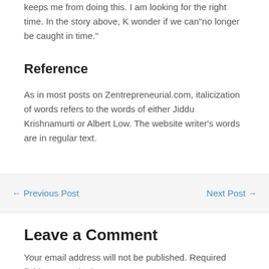keeps me from doing this.  I am looking for the right time.  In the story above, K wonder if we can"no longer be caught in time."
Reference
As in most posts on Zentrepreneurial.com, italicization of words refers to the words of either Jiddu Krishnamurti or Albert Low.  The website writer's words are in regular text.
← Previous Post
Next Post →
Leave a Comment
Your email address will not be published. Required fields are marked *